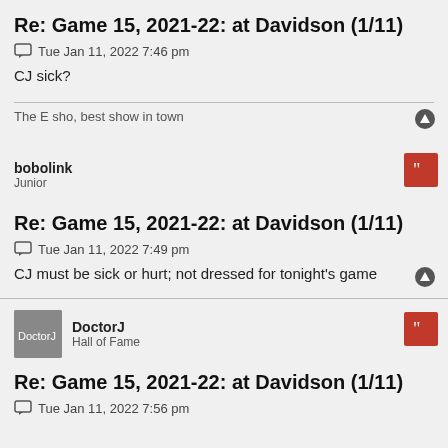Re: Game 15, 2021-22: at Davidson (1/11)
Tue Jan 11, 2022 7:46 pm
CJ sick?
The E sho, best show in town
bobolink
Junior
Re: Game 15, 2021-22: at Davidson (1/11)
Tue Jan 11, 2022 7:49 pm
CJ must be sick or hurt; not dressed for tonight's game
DoctorJ
Hall of Fame
Re: Game 15, 2021-22: at Davidson (1/11)
Tue Jan 11, 2022 7:56 pm